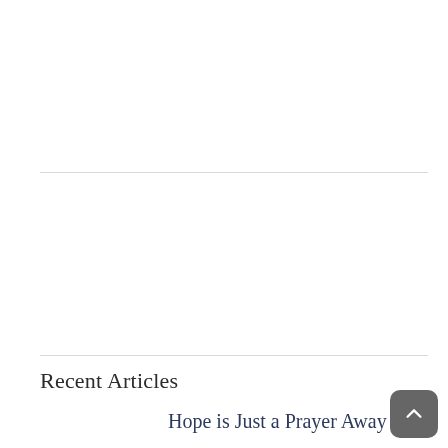Recent Articles
Hope is Just a Prayer Away